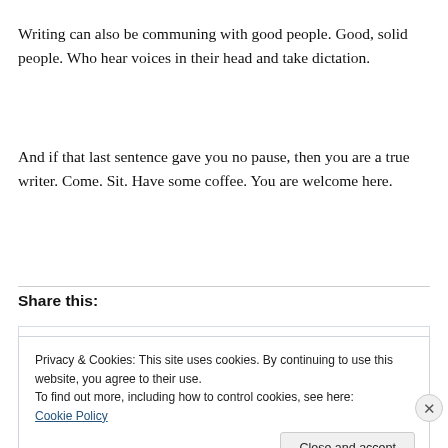Writing can also be communing with good people. Good, solid people. Who hear voices in their head and take dictation.
And if that last sentence gave you no pause, then you are a true writer. Come. Sit. Have some coffee. You are welcome here.
Share this:
Privacy & Cookies: This site uses cookies. By continuing to use this website, you agree to their use.
To find out more, including how to control cookies, see here: Cookie Policy